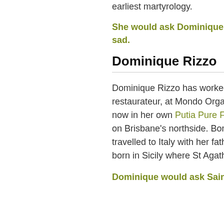earliest martyrology.
She would ask Dominique Rizzo what made her sad.
Dominique Rizzo
Dominique Rizzo has worked as a chef and restaurateur, at Mondo Organics in West End and now in her own Putia Pure Food Kitchen in Banyo on Brisbane's northside. Born in 1972, Dominique travelled to Italy with her father Vincenzo who was born in Sicily where St Agatha is patron saint.
Dominique would ask Saint Agatha how